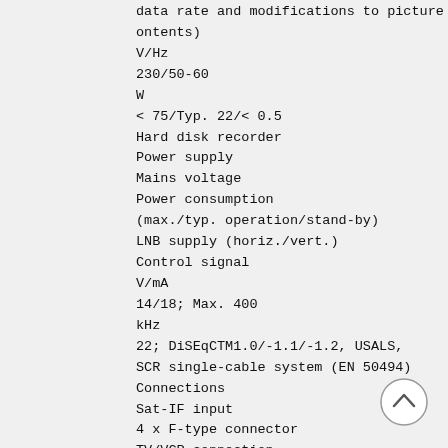data rate and modifications to picture contents)
V/Hz
230/50-60
W
< 75/Typ. 22/< 0.5
Hard disk recorder
Power supply
Mains voltage
Power consumption
(max./typ. operation/stand-by)
LNB supply (horiz./vert.)
Control signal
V/mA
14/18; Max. 400
kHz
22; DiSEqCTM1.0/-1.1/-1.2, USALS,
SCR single-cable system (EN 50494)
Connections
Sat-IF input
4 x F-type connector
TV/VCR connection
2 x Scart socket
Video output (analogue)